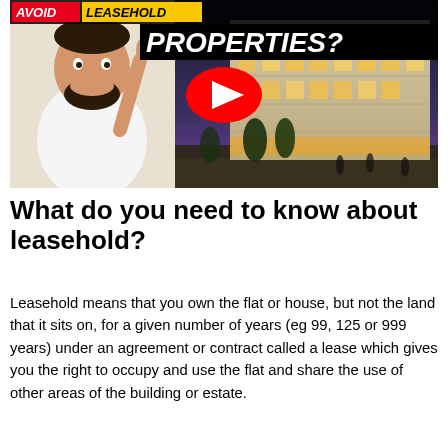[Figure (screenshot): YouTube video thumbnail showing a cartoon man pointing upward with one finger, a modern illuminated building in the background, a YouTube play button in the center, and text banners reading 'AVOID LEASEHOLD PROPERTIES?']
What do you need to know about leasehold?
Leasehold means that you own the flat or house, but not the land that it sits on, for a given number of years (eg 99, 125 or 999 years) under an agreement or contract called a lease which gives you the right to occupy and use the flat and share the use of other areas of the building or estate.